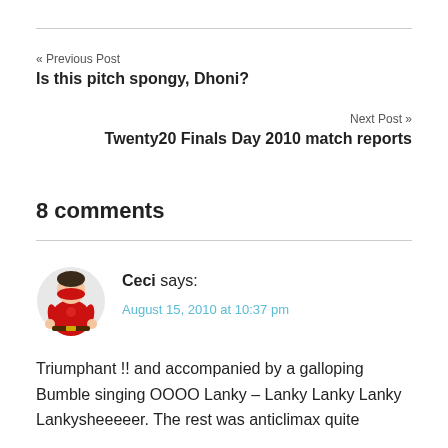« Previous Post
Is this pitch spongy, Dhoni?
Next Post »
Twenty20 Finals Day 2010 match reports
8 comments
[Figure (photo): Avatar of commenter Ceci — person in a red superhero costume]
Ceci says:
August 15, 2010 at 10:37 pm
Triumphant !! and accompanied by a galloping Bumble singing OOOO Lanky – Lanky Lanky Lanky Lankysheeeeer. The rest was anticlimax quite